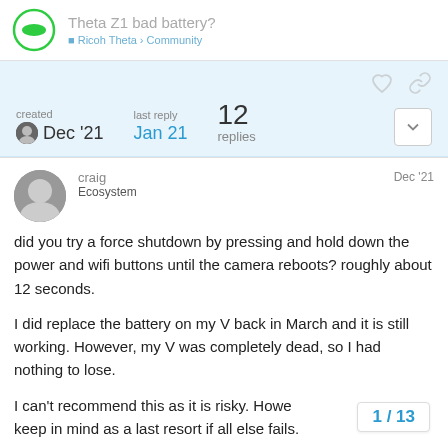Theta Z1 bad battery?
created Dec '21   last reply Jan 21   12 replies
craig Ecosystem  Dec '21
did you try a force shutdown by pressing and hold down the power and wifi buttons until the camera reboots? roughly about 12 seconds.

I did replace the battery on my V back in March and it is still working. However, my V was completely dead, so I had nothing to lose.

I can't recommend this as it is risky. However keep in mind as a last resort if all else fails.
1 / 13